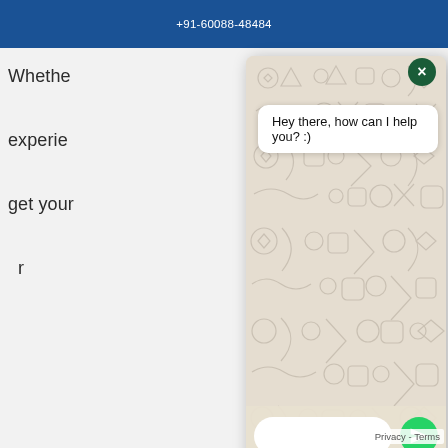+91-60088-48484
Whether
experience
get your
r
[Figure (screenshot): WhatsApp chat widget overlay with beige patterned background, speech bubble saying 'Hey there, how can I help you? :)', text input field, and green send button. Close button (x) in top right. WhatsApp icon at bottom right.]
We use cookies to give you the most relevant experience by remembering your preferences and repeat visits. By clicking "Accept All", you consent to the use of ALL the cookies. However, you may visit "Cookie Settings" to provide a controlled consent.
Cookie Settings
Accept All
Privacy - Terms